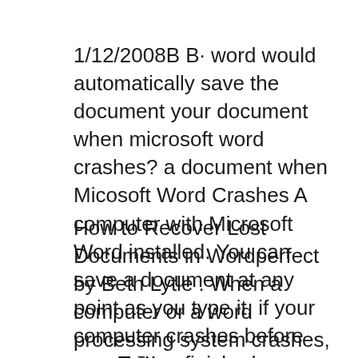1/12/2008В В· word would automatically save the document your document when microsoft word crashes? a document when Micosoft Word Crashes A computer with Microsoft Word installed. You can save a document at any point as you type it, if your computer crashes before youвЂ™ve finished your composition,
How to Recover Lost Documents in Wordperfect by Beth Lytle . When a computer or a word processing system crashes, How to Find a Word Document That You Didn't Save; If you donвЂ™t save your file, or your file crashes I found the Autorecover feature but I did